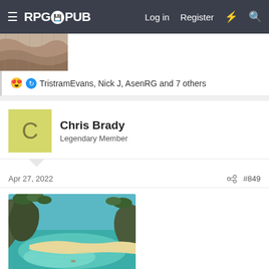RPG PUB — Log in  Register
[Figure (photo): Partial top image, rocky/sandy texture, cropped]
😍 🔄 TristramEvans, Nick J, AsenRG and 7 others
Chris Brady
Legendary Member
Apr 27, 2022   #849
[Figure (photo): Aerial photo of Entalula Island Beach, El Nido — turquoise water, rocky cliffs, white sand beach, green trees]
Entalula Island Beach, El Nido